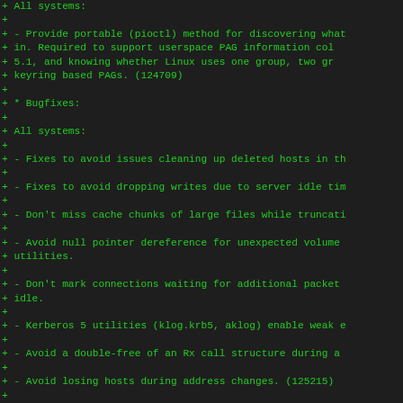Diff output showing bugfixes and feature additions in a source changelog, green monospace diff format